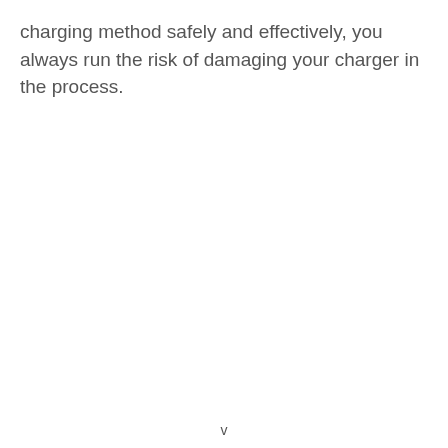charging method safely and effectively, you always run the risk of damaging your charger in the process.
v